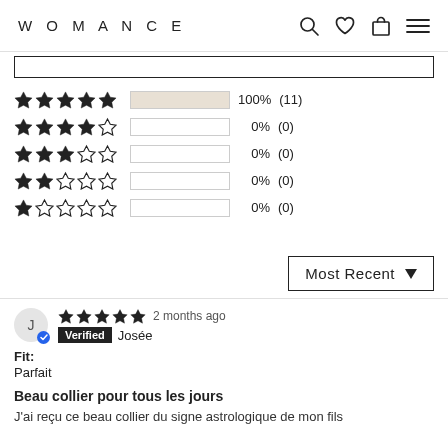WOMANCE
[Figure (other): Partial search bar visible at top]
| Stars | Bar | Percentage | Count |
| --- | --- | --- | --- |
| 5 stars | filled | 100% | (11) |
| 4 stars | empty | 0% | (0) |
| 3 stars | empty | 0% | (0) |
| 2 stars | empty | 0% | (0) |
| 1 star | empty | 0% | (0) |
Most Recent
J — Verified Josée — 2 months ago
Fit: Parfait
Beau collier pour tous les jours
J'ai reçu ce beau collier du signe astrologique de mon fils